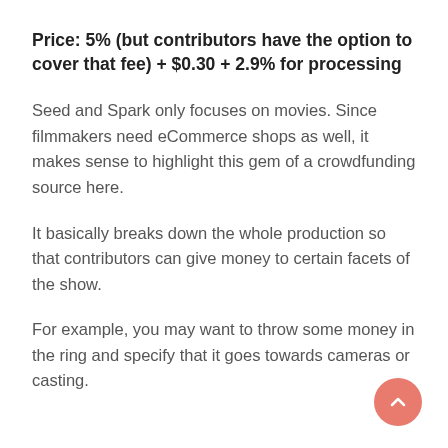Price: 5% (but contributors have the option to cover that fee) + $0.30 + 2.9% for processing
Seed and Spark only focuses on movies. Since filmmakers need eCommerce shops as well, it makes sense to highlight this gem of a crowdfunding source here.
It basically breaks down the whole production so that contributors can give money to certain facets of the show.
For example, you may want to throw some money in the ring and specify that it goes towards cameras or casting.